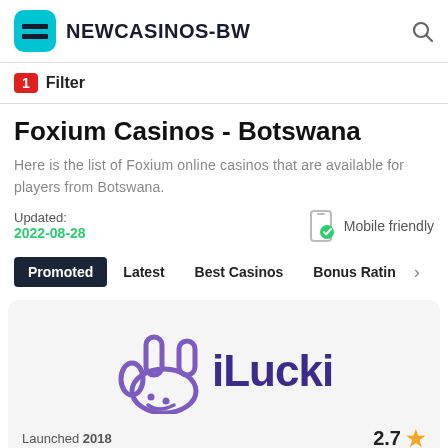NEWCASINOS-BW
1 Filter
Foxium Casinos - Botswana
Here is the list of Foxium online casinos that are available for players from Botswana.
Updated: 2022-08-28
Mobile friendly
Promoted | Latest | Best Casinos | Bonus Rating >
[Figure (logo): iLucki casino logo with hand emoji character in purple]
Launched 2018   2.7 ★